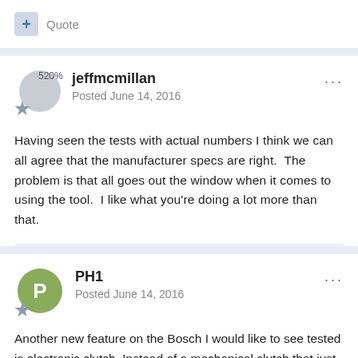+ Quote
jeffmcmillan
Posted June 14, 2016
Having seen the tests with actual numbers I think we can all agree that the manufacturer specs are right.  The problem is that all goes out the window when it comes to using the tool.  I like what you're doing a lot more than that.
+ Quote
PH1
Posted June 14, 2016
Another new feature on the Bosch I would like to see tested is electronic clutch. Instead of a mechanical clutch that just keeps